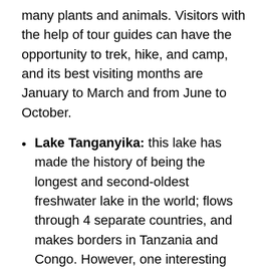many plants and animals. Visitors with the help of tour guides can have the opportunity to trek, hike, and camp, and its best visiting months are January to March and from June to October.
Lake Tanganyika: this lake has made the history of being the longest and second-oldest freshwater lake in the world; flows through 4 separate countries, and makes borders in Tanzania and Congo. However, one interesting thing it has to offer aside from its beauty is being a habitat to Nile crocodiles, storm's water cobra (only found in the lake), Cichlid fish, and more than 80 different other species of fish. Many other species are found in the lake that includes many endemics.